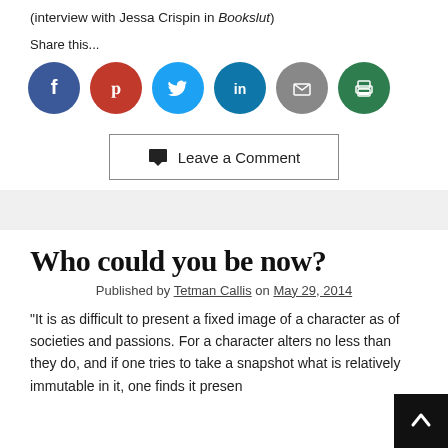(interview with Jessa Crispin in Bookslut)
Share this...
[Figure (infographic): Social sharing icons: Facebook (blue circle), Pinterest (red circle), Twitter (light blue circle), LinkedIn (teal circle), Email (gray circle), Print (green circle)]
Leave a Comment
Who could you be now?
Published by Tetman Callis on May 29, 2014
“It is as difficult to present a fixed image of a character as of societies and passions. For a character alters no less than they do, and if one tries to take a snapshot what is relatively immutable in it, one finds it presen